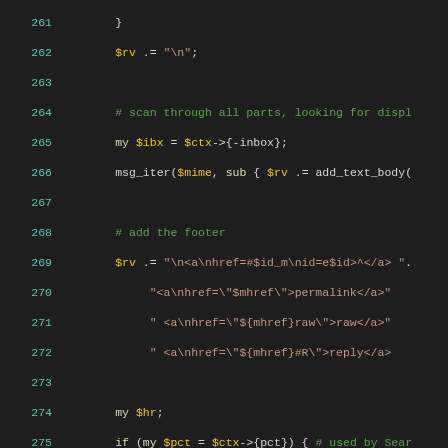[Figure (screenshot): Source code listing in a dark IDE theme, lines 261-290, showing Perl code with syntax highlighting. Line numbers in teal, keywords/variables in orange/yellow, strings in orange, comments in green.]